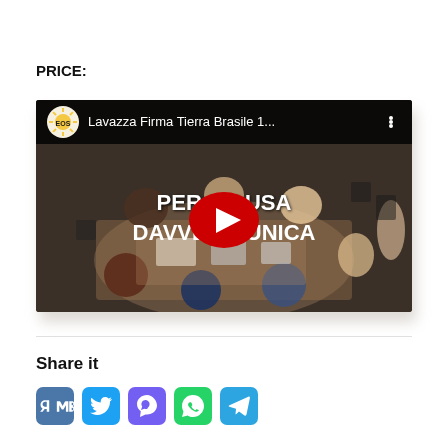PRICE:
[Figure (screenshot): YouTube video thumbnail showing a group of people working around a table viewed from above, with text 'PER UNA CAUSA DAVVERO UNICA' and a YouTube play button. Top bar shows EOS logo and title 'Lavazza Firma Tierra Brasile 1...']
Share it
Social share icons: VK, Twitter, Viber, WhatsApp, Telegram